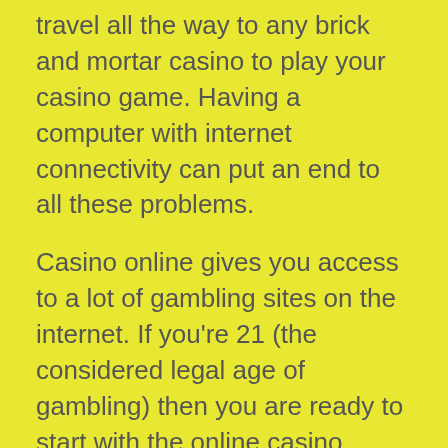travel all the way to any brick and mortar casino to play your casino game. Having a computer with internet connectivity can put an end to all these problems.
Casino online gives you access to a lot of gambling sites on the internet. If you're 21 (the considered legal age of gambling) then you are ready to start with the online casino games. You should know that playing at any online casino site brings about a lot of advantages for the players.
Having a look on the major advantages of the online casinos will help you to know why this means of gambling has grown so